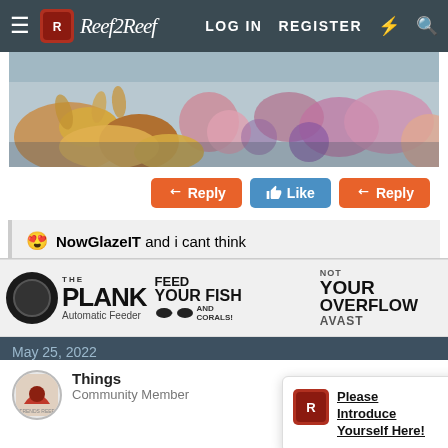Reef2Reef — LOG IN  REGISTER
[Figure (photo): Close-up photo of colorful coral reef with various zoanthid corals in pink, purple, orange, and yellow tones]
↩ Reply  👍 Like  ↩ Reply
😍 NowGlazeIT and i cant think
[Figure (infographic): Advertisement banner for THE PLANK Automatic Feeder by AVAST — FEED YOUR FISH AND CORALS! NOT YOUR OVERFLOW]
May 25, 2022
Things
Community Member
Please Introduce Yourself Here!